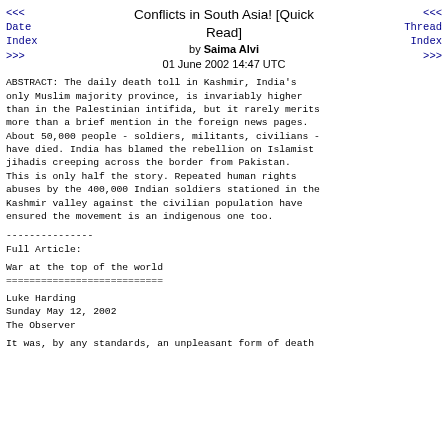<<< Date Index >>> | Conflicts in South Asia! [Quick Read] by Saima Alvi 01 June 2002 14:47 UTC | <<< Thread Index >>>
ABSTRACT: The daily death toll in Kashmir, India's only Muslim majority province, is invariably higher than in the Palestinian intifida, but it rarely merits more than a brief mention in the foreign news pages. About 50,000 people - soldiers, militants, civilians - have died. India has blamed the rebellion on Islamist jihadis creeping across the border from Pakistan. This is only half the story. Repeated human rights abuses by the 400,000 Indian soldiers stationed in the Kashmir valley against the civilian population have ensured the movement is an indigenous one too.
---------------
Full Article:
War at the top of the world
===========================
Luke Harding
Sunday May 12, 2002
The Observer
It was, by any standards, an unpleasant form of death